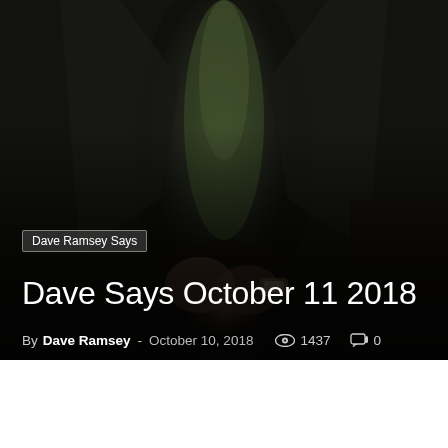[Figure (photo): A man in a dark suit with green shirt, sitting with hands clasped, wearing a watch. Photo taken from chest down, dark moody lighting.]
Dave Ramsey Says
Dave Says October 11 2018
By Dave Ramsey - October 10, 2018  1437  0